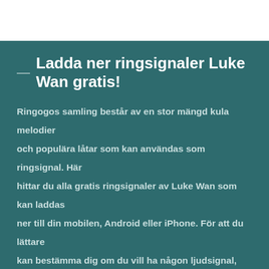— Ladda ner ringsignaler Luke Wan gratis!
Ringogos samling består av en stor mängd kula melodier och populära låtar som kan användas som ringsignal. Här hittar du alla gratis ringsignaler av Luke Wan som kan laddas ner till din mobilen, Android eller iPhone. För att du lättare kan bestämma dig om du vill ha någon ljudsignal, finns det möjlighet att lyssna på varje ljudspår före nedladdningen. Vi är övertygade om att du efter de första sekunderna kommer att gilla låtar av Luke Wan som ringsignal på din mobila enhet. Ringsignaler kan laddas ner i mp3-format, eller i m4r-format när det gäller IPhone. Med din nya ringsignal av Luke